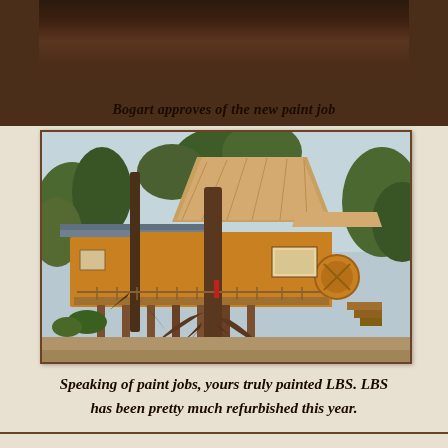[Figure (photo): Top partial photo of a dark interior/exterior scene, cut off at top of page]
Bogart approves of the new paint job
[Figure (photo): Photo of a yellow painted beach/tropical building on stilts with thatched roof, surrounded by trees with large exposed roots, sandy ground]
Speaking of paint jobs, yours truly painted LBS. LBS has been pretty much refurbished this year.